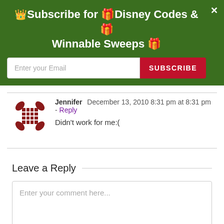[Figure (infographic): Green banner with subscribe prompt: 'Subscribe for Disney Codes & Winnable Sweeps' with email input and red Subscribe button, and an X close button.]
Jennifer  December 13, 2010 8:31 pm at 8:31 pm - Reply
Didn't work for me:(
Leave a Reply
Enter your comment here...